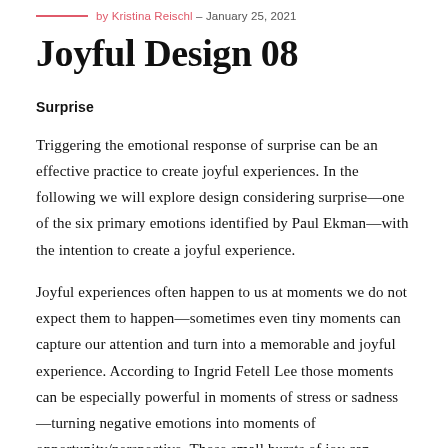by Kristina Reischl – January 25, 2021
Joyful Design 08
Surprise
Triggering the emotional response of surprise can be an effective practice to create joyful experiences. In the following we will explore design considering surprise—one of the six primary emotions identified by Paul Ekman—with the intention to create a joyful experience.
Joyful experiences often happen to us at moments we do not expect them to happen—sometimes even tiny moments can capture our attention and turn into a memorable and joyful experience. According to Ingrid Fetell Lee those moments can be especially powerful in moments of stress or sadness—turning negative emotions into moments of opportunity/perspective. Those small bursts of joy can